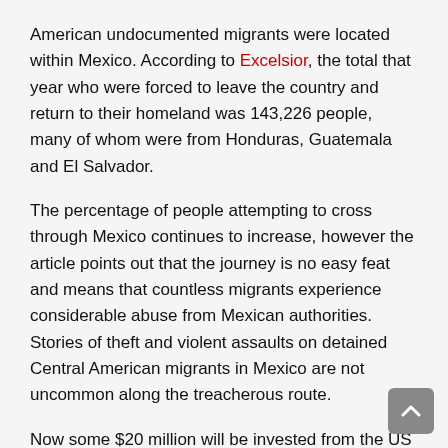American undocumented migrants were located within Mexico. According to Excelsior, the total that year who were forced to leave the country and return to their homeland was 143,226 people, many of whom were from Honduras, Guatemala and El Salvador.
The percentage of people attempting to cross through Mexico continues to increase, however the article points out that the journey is no easy feat and means that countless migrants experience considerable abuse from Mexican authorities. Stories of theft and violent assaults on detained Central American migrants in Mexico are not uncommon along the treacherous route.
Now some $20 million will be invested from the US foreign assistance fund in order to pay for increased detainment, repatriation flights and bus fares for the migrants from Mexico. According to statements, the initiative will hope to ensure that people who have legitimate asylum claims are provided with support whilst also increasing repatriations and suppressing terrorist threats.